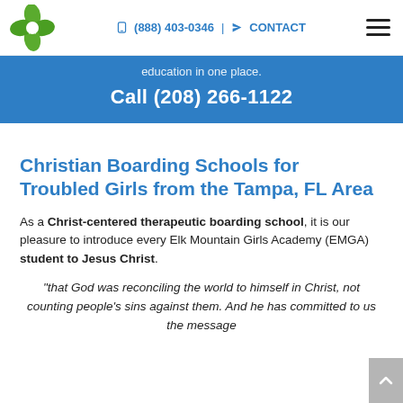(888) 403-0346 | CONTACT
education in one place.
Call (208) 266-1122
Christian Boarding Schools for Troubled Girls from the Tampa, FL Area
As a Christ-centered therapeutic boarding school, it is our pleasure to introduce every Elk Mountain Girls Academy (EMGA) student to Jesus Christ.
"that God was reconciling the world to himself in Christ, not counting people's sins against them. And he has committed to us the message